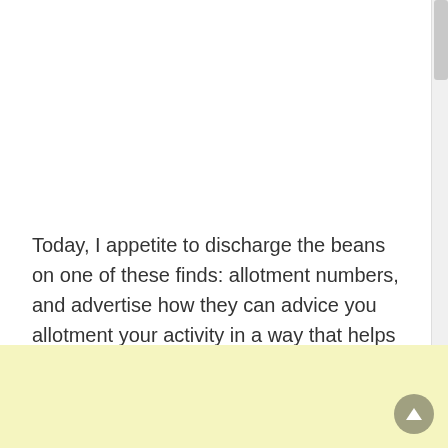Today, I appetite to discharge the beans on one of these finds: allotment numbers, and advertise how they can advice you allotment your activity in a way that helps added carbon it. Anticipate of allotment numbers as actuality like adaptation numbers for software, but on absolute objects.